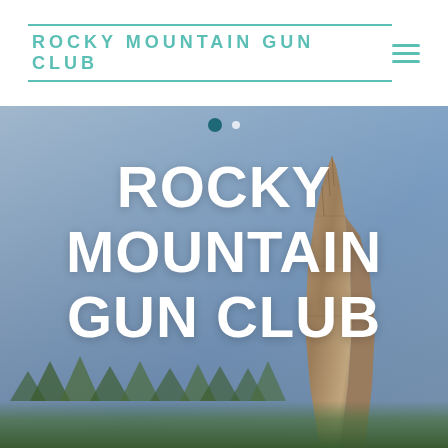ROCKY MOUNTAIN GUN CLUB
[Figure (photo): Hero image of Rocky Mountain landscape with blue sky and rock formation (Devils Tower-like), with trees at the bottom. Overlaid with large white bold text 'ROCKY MOUNTAIN GUN CLUB' and two navigation dots.]
ROCKY MOUNTAIN GUN CLUB